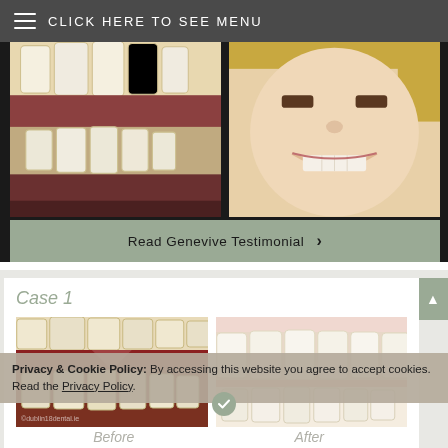CLICK HERE TO SEE MENU
[Figure (photo): Before dental photo showing uneven/damaged teeth close-up]
[Figure (photo): After dental photo showing a smiling woman with improved teeth]
Read Genevive Testimonial ›
Case 1
[Figure (photo): Before dental treatment photo showing damaged/uneven teeth close-up, watermark ©dublin18dental.ie]
[Figure (photo): After dental treatment photo showing uniform white teeth]
Privacy & Cookie Policy: By accessing this website you agree to accept cookies. Read the Privacy Policy.
Before
After